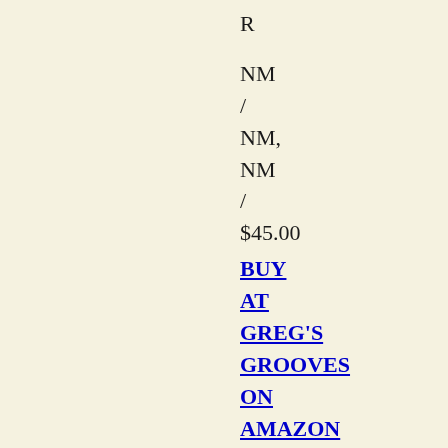R
NM
/
NM,
NM
/
$45.00
BUY AT GREG'S GROOVES ON AMAZON MARKETPLACE
A fine compilation in excellent condition. 25 tracks under